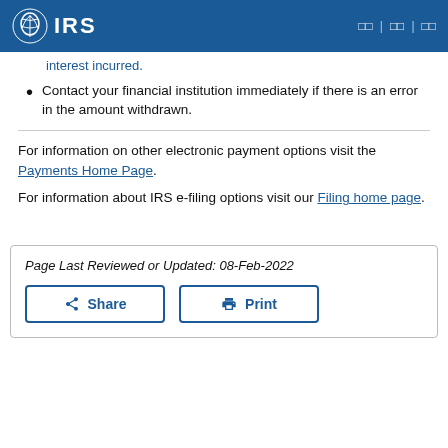IRS
interest incurred.
Contact your financial institution immediately if there is an error in the amount withdrawn.
For information on other electronic payment options visit the Payments Home Page.
For information about IRS e-filing options visit our Filing home page.
Page Last Reviewed or Updated: 08-Feb-2022